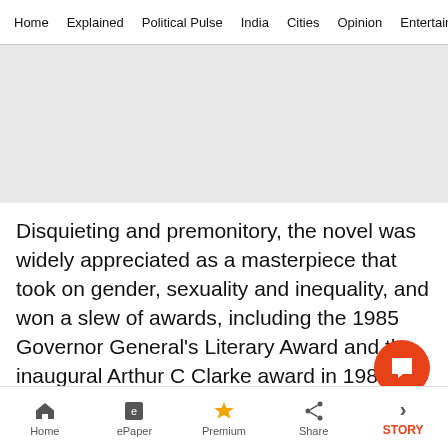Home  Explained  Political Pulse  India  Cities  Opinion  Entertainment
[Figure (other): Gray advertisement/image placeholder rectangle]
Disquieting and premonitory, the novel was widely appreciated as a masterpiece that took on gender, sexuality and inequality, and won a slew of awards, including the 1985 Governor General's Literary Award and the inaugural Arthur C Clarke award in 1987. It was also shortlisted for th
Home  ePaper  Premium  Share  STORY